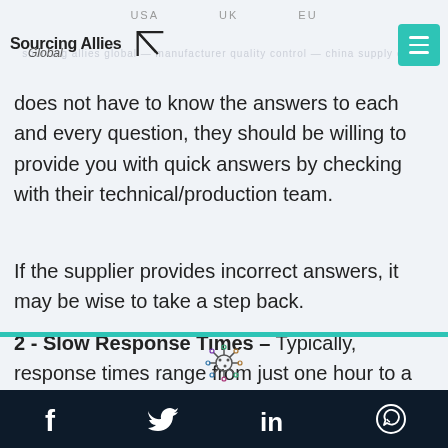USA   UK   EU
does not have to know the answers to each and every question, they should be willing to provide you with quick answers by checking with their technical/production team.
If the supplier provides incorrect answers, it may be wise to take a step back.
2 - Slow Response Times – Typically, response times range from just one hour to a maximum of 16 hours in China. During holidays, the response times
[Figure (logo): Sourcing Allies Global logo with triangle mark]
[Figure (illustration): Virus/COVID icon]
Facebook  Twitter  LinkedIn  WhatsApp social icons